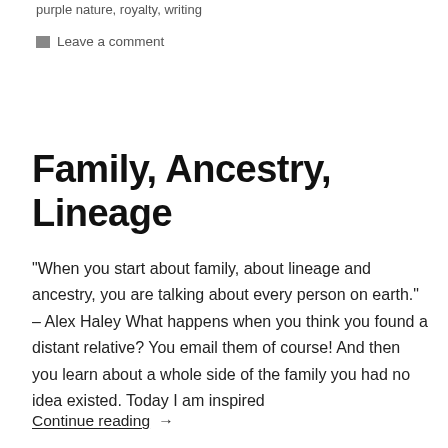purple nature, royalty, writing
Leave a comment
Family, Ancestry, Lineage
“When you start about family, about lineage and ancestry, you are talking about every person on earth.” – Alex Haley What happens when you think you found a distant relative? You email them of course! And then you learn about a whole side of the family you had no idea existed. Today I am inspired
Continue reading →